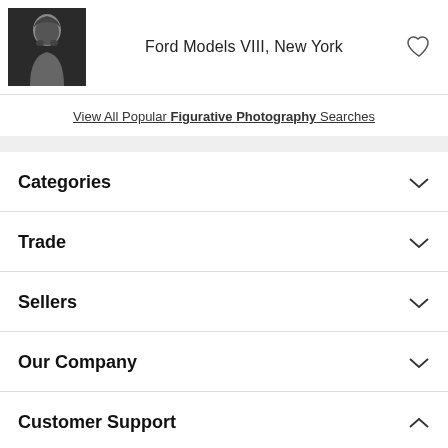[Figure (photo): Black and white portrait photo of a bald figure]
Ford Models VIII, New York
View All Popular Figurative Photography Searches
Categories
Trade
Sellers
Our Company
Customer Support
Contact 1stDibs